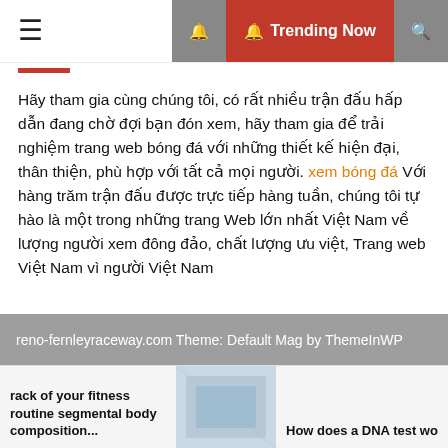≡   🔔 Trending Now 🔍
Hãy tham gia cùng chúng tôi, có rất nhiều trận đấu hấp dẫn đang chờ đợi bạn đón xem, hãy tham gia để trải nghiệm trang web bóng đá với những thiết kế hiện đại, thân thiện, phù hợp với tất cả mọi người. xem bóng đá Với hàng trăm trận đấu được trực tiếp hàng tuần, chúng tôi tự hào là một trong những trang Web lớn nhất Việt Nam về lượng người xem đông đảo, chất lượng ưu việt, Trang web Việt Nam vì người Việt Nam
reno-fernleyraceway.com Theme: Default Mag by ThemeInWP
rack of your fitness routine segmental body composition...
How does a DNA test wo